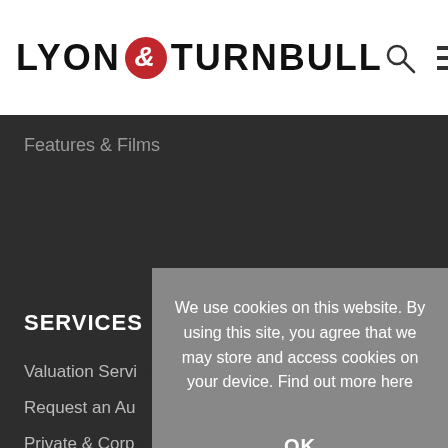LYON & TURNBULL
Features & Films
SERVICES
Valuation Services
Request an Auction Estimate
Private & Corporate Services
Private Sales
Chinese Speaking Service
We use cookies on this website. By using this site, you agree that we may store and access cookies on your device. Find out more here
OK